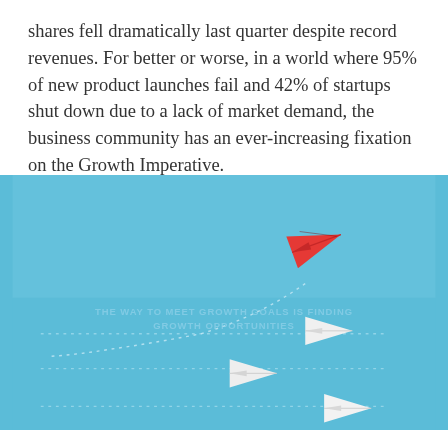shares fell dramatically last quarter despite record revenues. For better or worse, in a world where 95% of new product launches fail and 42% of startups shut down due to a lack of market demand, the business community has an ever-increasing fixation on the Growth Imperative.
[Figure (photo): Photo of paper airplanes on a blue background. One red paper airplane is leading, flying upward and to the right with a dotted trail. Three white paper airplanes follow below on dotted horizontal lines. Text overlay reads 'THE WAY TO MEET GROWTH GOALS IS FINDING' and below 'GROWTH OPPORTUNITIES'.]